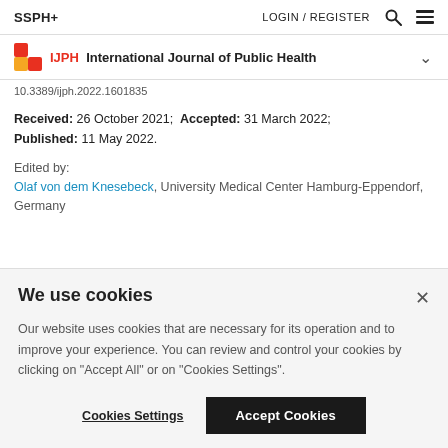SSPH+   LOGIN / REGISTER
IJPH  International Journal of Public Health
10.3389/ijph.2022.1601835
Received: 26 October 2021; Accepted: 31 March 2022; Published: 11 May 2022.
Edited by:
Olaf von dem Knesebeck, University Medical Center Hamburg-Eppendorf, Germany
We use cookies
Our website uses cookies that are necessary for its operation and to improve your experience. You can review and control your cookies by clicking on "Accept All" or on "Cookies Settings".
Cookies Settings   Accept Cookies